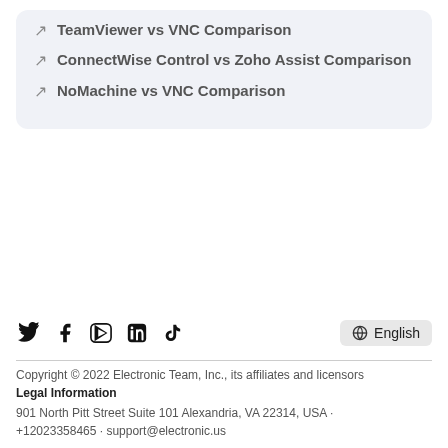TeamViewer vs VNC Comparison
ConnectWise Control vs Zoho Assist Comparison
NoMachine vs VNC Comparison
[Figure (other): Social media icons: Twitter, Facebook, YouTube, LinkedIn, TikTok, and English language selector button]
Copyright © 2022 Electronic Team, Inc., its affiliates and licensors
Legal Information
901 North Pitt Street Suite 101 Alexandria, VA 22314, USA · +12023358465 · support@electronic.us